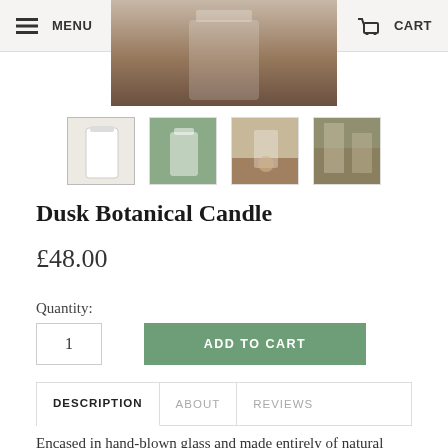MENU   CART
[Figure (photo): Product hero image of Dusk Botanical Candle — warm brown/tan background, top portion of candle visible]
[Figure (photo): Thumbnail 1: white candle product shot on plain background]
[Figure (photo): Thumbnail 2: candle in green/nature setting]
[Figure (photo): Thumbnail 3: candle lifestyle scene with warm lighting]
[Figure (photo): Thumbnail 4: candle in window/outdoor scene]
Dusk Botanical Candle
£48.00
Quantity:
1
ADD TO CART
DESCRIPTION   ABOUT   REVIEWS
Encased in hand-blown glass and made entirely of natural ingredients, the dusk